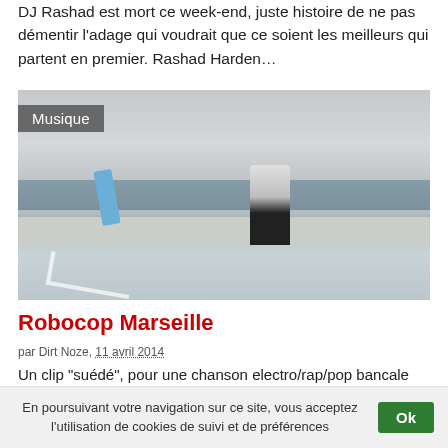DJ Rashad est mort ce week-end, juste histoire de ne pas démentir l’adage qui voudrait que ce soient les meilleurs qui partent en premier. Rashad Harden…
[Figure (photo): A person in a white robocop-style costume standing on a scenic overlook above a city, with a coin-operated telescope nearby. Category badge 'Musique' overlaid top left.]
Robocop Marseille
par Dirt Noze, 11 avril 2014
Un clip "suédé", pour une chanson electro/rap/pop bancale qui retrace, avec force détails, l’épopée du célèbre flic de Detroit,
En poursuivant votre navigation sur ce site, vous acceptez l’utilisation de cookies de suivi et de préférences Ok